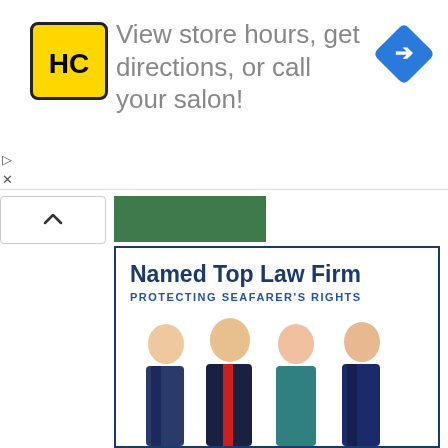[Figure (infographic): Advertisement banner: HC logo (yellow square with black HC letters), text 'View store hours, get directions, or call your salon!', blue diamond navigation icon on right. Ad controls (play/close icons) on lower left.]
[Figure (photo): Thumbnail image of a green background item, partially visible.]
[Figure (photo): Thumbnail photo of a man in a floral shirt looking excited, slots/casino background.]
Slots influencer partners with Carnival Cruise Lin...
[Figure (infographic): Law firm advertisement with blue border. Text: 'Named Top Law Firm' in bold dark blue, 'PROTECTING SEAFARER'S RIGHTS' in blue caps. Four professionals in business attire posed below.]